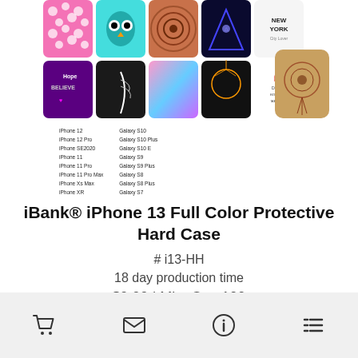[Figure (photo): Product photo showing a grid of colorful iPhone cases with various designs (polka dots, owl, mandala, triangle, New York text, hope/believe text, feather, colorful gradient, dreamcatcher, lips/mascara text) and one standalone case with a dreamcatcher design. Below the cases is a compatibility list showing supported iPhone and Samsung Galaxy models.]
iBank® iPhone 13 Full Color Protective Hard Case
# i13-HH
18 day production time
$9.99 | Min. Qty: 100
[Figure (infographic): Footer navigation bar with four icons: shopping cart, envelope/email, info circle, and bullet list/menu]